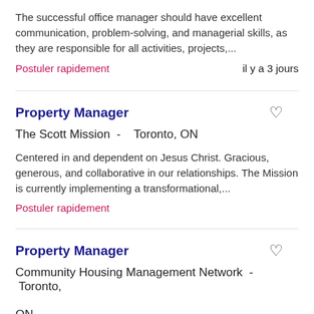The successful office manager should have excellent communication, problem-solving, and managerial skills, as they are responsible for all activities, projects,...
Postuler rapidement
il y a 3 jours
Property Manager
The Scott Mission -   Toronto, ON
Centered in and dependent on Jesus Christ. Gracious, generous, and collaborative in our relationships. The Mission is currently implementing a transformational,...
Postuler rapidement
Property Manager
Community Housing Management Network -   Toronto, ON
The Community Housing Management Network (The Network) is